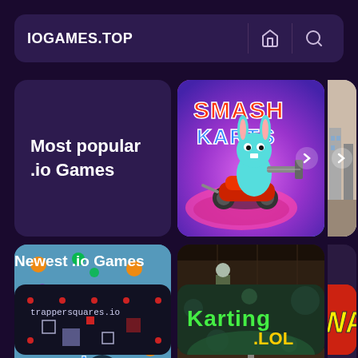IOGAMES.TOP
Most popular .io Games
[Figure (screenshot): Smash Karts game thumbnail - colorful cartoon kart racing game with blue bunny character]
[Figure (screenshot): Avoids.io game thumbnail - colorful dots on teal background with Avoids.io logo]
[Figure (screenshot): First-person shooter game thumbnail - blocky dark interior scene]
[Figure (screenshot): Partial game thumbnail on right edge - city scene]
Newest .io Games
[Figure (screenshot): TrappersSquares.io game thumbnail]
[Figure (screenshot): Karting.LOL game thumbnail]
[Figure (screenshot): Partial WA... game thumbnail]